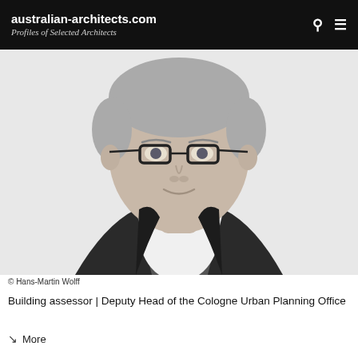australian-architects.com
Profiles of Selected Architects
[Figure (photo): Black and white professional headshot of a middle-aged man with glasses, short grey hair, wearing a dark blazer and open-collar white shirt, smiling slightly against a light background.]
© Hans-Martin Wolff
Building assessor | Deputy Head of the Cologne Urban Planning Office
↘ More